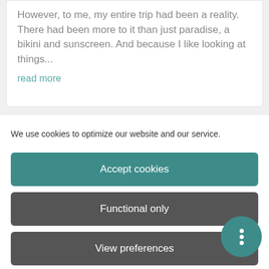However, to me, my entire trip had been a reality. There had been more to it than just paradise, a bikini and sunscreen. And because I like looking at things... read more
We use cookies to optimize our website and our service.
Accept cookies
Functional only
View preferences
Cookie Policy   Disclaimer & Privacy